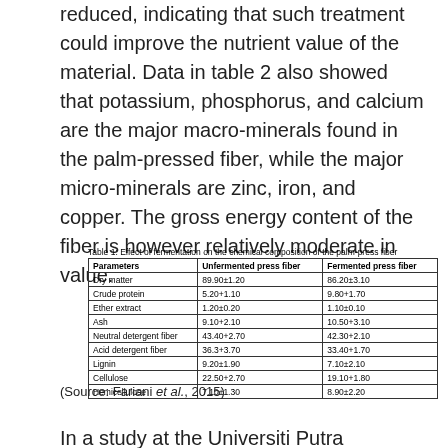reduced, indicating that such treatment could improve the nutrient value of the material. Data in table 2 also showed that potassium, phosphorus, and calcium are the major macro-minerals found in the palm-pressed fiber, while the major micro-minerals are zinc, iron, and copper. The gross energy content of the fiber is however relatively moderate in value.
Table 1: Effect of fermentation on the chemical composition of the palm-press fiber
| Parameters | Unfermented press fiber | Fermented press fiber |
| --- | --- | --- |
| Dry matter | 89.90±1.20 | 86.20±3.10 |
| Crude protein | 5.20+1.10 | 9.80+1.70 |
| Ether extract | 1.20±0.20 | 1.10±0.10 |
| Ash | 9.10+2.10 | 10.50+3.10 |
| Neutral detergent fiber | 43.40+2.70 | 42.30+2.10 |
| Acid detergent fiber | 36.3+3.70 | 33.40+1.70 |
| Lignin | 9.20±1.90 | 7.10±2.10 |
| Cellulose | 22.50+2.70 | 19.10+1.80 |
| Hemicellulose | 7.10±1.30 | 8.90±2.20 |
(Source: Fariani et al., 2015)
In a study at the Universiti Putra Malaysia